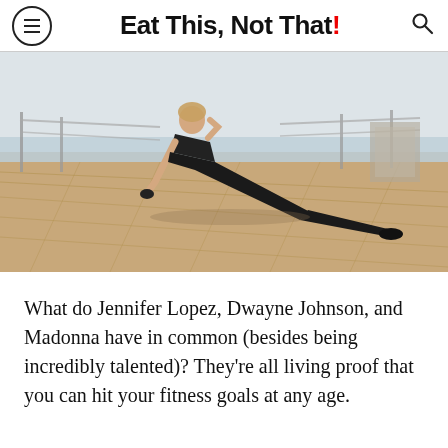Eat This, Not That!
[Figure (photo): A fit woman in black athletic wear doing a side plank exercise on a wooden boardwalk near the ocean, photographed from a low angle in natural light.]
What do Jennifer Lopez, Dwayne Johnson, and Madonna have in common (besides being incredibly talented)? They're all living proof that you can hit your fitness goals at any age.